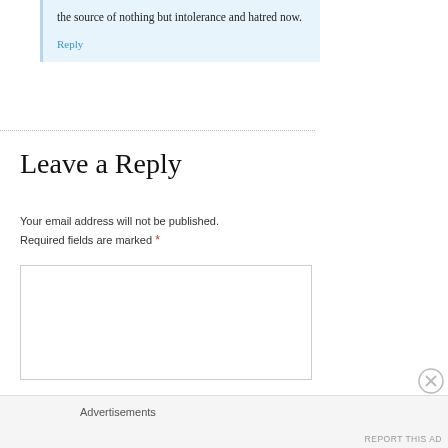the source of nothing but intolerance and hatred now.
Reply
Leave a Reply
Your email address will not be published.
Required fields are marked *
[Figure (other): Comment text input textarea box]
Advertisements
REPORT THIS AD